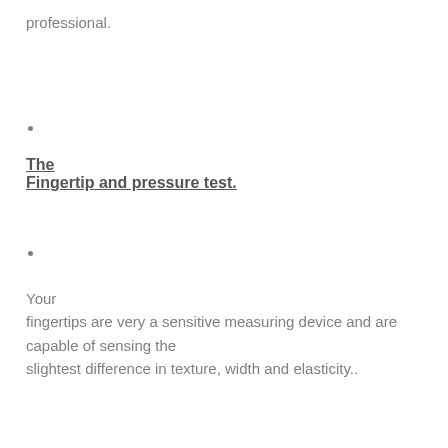professional.
•
The
Fingertip and pressure test.
•
Your fingertips are very a sensitive measuring device and are capable of sensing the slightest difference in texture, width and elasticity..